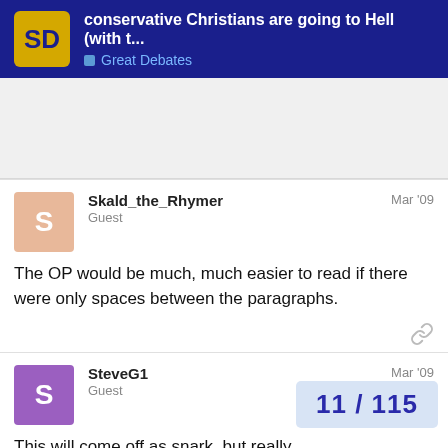conservative Christians are going to Hell (with t... | Great Debates
Skald_the_Rhymer
Guest
Mar '09
The OP would be much, much easier to read if there were only spaces between the paragraphs.
SteveG1
Guest
Mar '09
This will come off as snark, but really.
If the sort of "conservative christians" the OP is going to heaven, I'm sure many of us woul
11 / 115